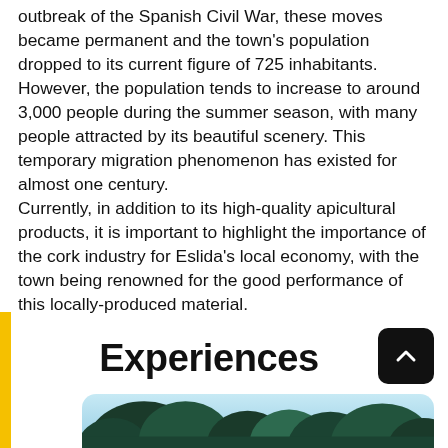outbreak of the Spanish Civil War, these moves became permanent and the town's population dropped to its current figure of 725 inhabitants. However, the population tends to increase to around 3,000 people during the summer season, with many people attracted by its beautiful scenery. This temporary migration phenomenon has existed for almost one century. Currently, in addition to its high-quality apicultural products, it is important to highlight the importance of the cork industry for Eslida's local economy, with the town being renowned for the good performance of this locally-produced material.
Experiences
[Figure (photo): Outdoor landscape photo showing trees against a light blue sky, partially visible at the bottom of the page]